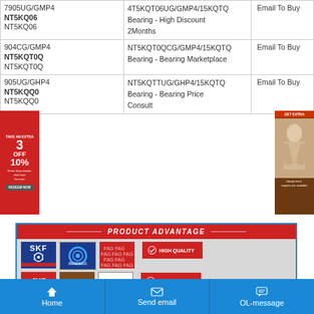| Part Number | Description | Action |
| --- | --- | --- |
| 7905UG/GMP4/15KQTQ
NTSKQTQ
NT5KQ06 | 4T5KQT06UG/GMP4/15KQTQ Bearing - High Discount 2Months | Email To Buy |
| 904CG/GMP4/15KQT0Q
NT5KQ0Q
NTSKQT0Q | NT5KQT0Q CG/GMP4/15KQTQ Bearing - Bearing Marketplace | Email To Buy |
| 905UG/GHP4/15KQQ0
NT5KQQ0
NT5KQTT | NT5KQTTUG/GHP4/15KQTQ Bearing - Bearing Price Consult | Email To Buy |
[Figure (infographic): PRODUCT ADVANTAGE banner with brand logos: SKF, NSK BEARINGS, FAG, JKR, TIMKEN, Koyo. Features HIGH QUALITY and LOW PRICE badges on the right.]
Home   Send email   OL-message